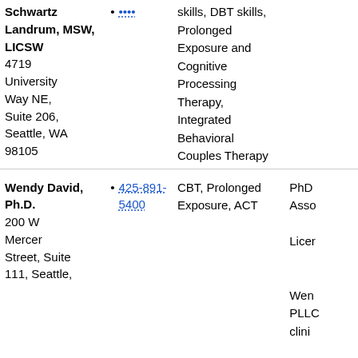| Name/Address | Phone | Specialty/Approach | Credentials |
| --- | --- | --- | --- |
| Schwartz Landrum, MSW, LICSW
4719 University Way NE, Suite 206, Seattle, WA 98105 | •••• | skills, DBT skills, Prolonged Exposure and Cognitive Processing Therapy, Integrated Behavioral Couples Therapy |  |
| Wendy David, Ph.D.
200 W Mercer Street, Suite 111, Seattle, | 425-891-5400 | CBT, Prolonged Exposure, ACT | PhD Asso Licer Wen PLLC clini |